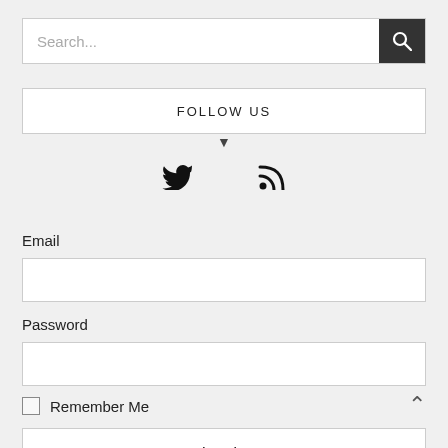Search...
FOLLOW US
[Figure (illustration): Social media icons: Twitter bird icon and RSS feed icon]
Email
Password
Remember Me
Log In